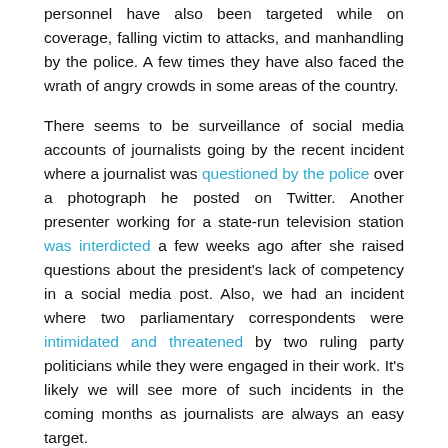personnel have also been targeted while on coverage, falling victim to attacks, and manhandling by the police. A few times they have also faced the wrath of angry crowds in some areas of the country.
There seems to be surveillance of social media accounts of journalists going by the recent incident where a journalist was questioned by the police over a photograph he posted on Twitter. Another presenter working for a state-run television station was interdicted a few weeks ago after she raised questions about the president's lack of competency in a social media post. Also, we had an incident where two parliamentary correspondents were intimidated and threatened by two ruling party politicians while they were engaged in their work. It's likely we will see more of such incidents in the coming months as journalists are always an easy target.
Do you have any safety recommendations for journalists?